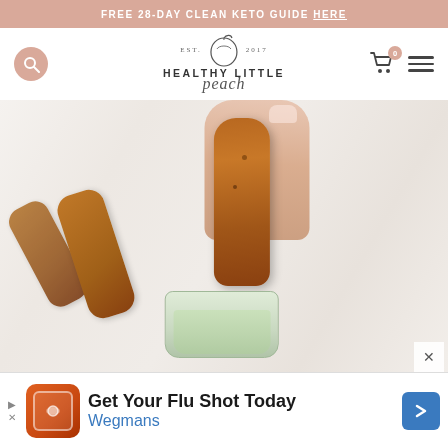FREE 28-DAY CLEAN KETO GUIDE HERE
[Figure (logo): Healthy Little Peach logo with peach icon, EST. 2017, stylized script text]
[Figure (photo): Hand holding a breaded chicken strip being dipped into a jar of green dipping sauce, with more chicken strips in background on a marble surface]
[Figure (other): Advertisement banner: Get Your Flu Shot Today - Wegmans, with orange Shipt logo and blue Wegmans arrow icon]